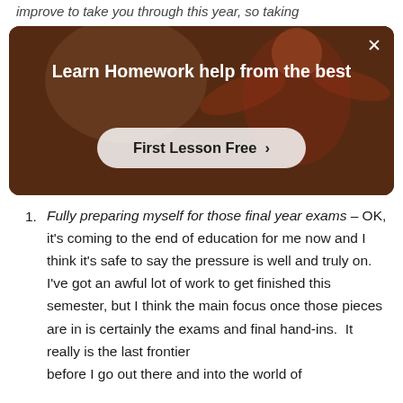improve to take you through this year, so taking
[Figure (screenshot): Advertisement banner with dark reddish-brown background showing a person in a room. Title reads 'Learn Homework help from the best' with a button 'First Lesson Free >']
Fully preparing myself for those final year exams – OK, it's coming to the end of education for me now and I think it's safe to say the pressure is well and truly on.  I've got an awful lot of work to get finished this semester, but I think the main focus once those pieces are in is certainly the exams and final hand-ins.  It really is the last frontier before I go out there and into the world of